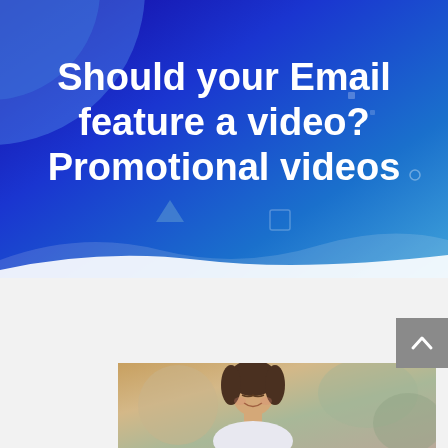[Figure (illustration): Blue gradient hero banner with decorative geometric shapes (circles, squares, triangle) and large white bold text reading 'Should your Email feature a video? Promotional videos']
Should your Email feature a video? Promotional videos
[Figure (photo): Photo of a young woman smiling, looking down, in a retail or restaurant setting with blurred background]